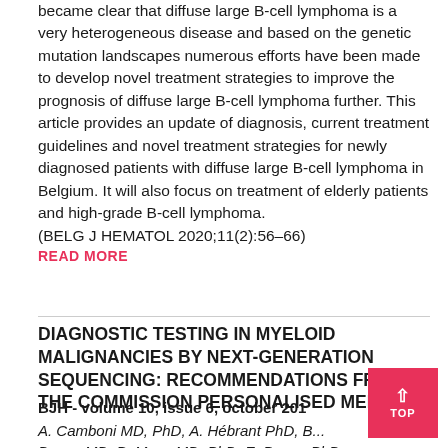became clear that diffuse large B-cell lymphoma is a very heterogeneous disease and based on the genetic mutation landscapes numerous efforts have been made to develop novel treatment strategies to improve the prognosis of diffuse large B-cell lymphoma further. This article provides an update of diagnosis, current treatment guidelines and novel treatment strategies for newly diagnosed patients with diffuse large B-cell lymphoma in Belgium. It will also focus on treatment of elderly patients and high-grade B-cell lymphoma. (BELG J HEMATOL 2020;11(2):56–66)
READ MORE
DIAGNOSTIC TESTING IN MYELOID MALIGNANCIES BY NEXT-GENERATION SEQUENCING: RECOMMENDATIONS FROM THE COMMISSION PERSONALISED MEDICINE
BJH - volume 10, issue 6, october 201...
A. Camboni MD, PhD, A. Hébrant PhD, B... Denys MD, B. Maes MD, PhD, E. Boone PhD,